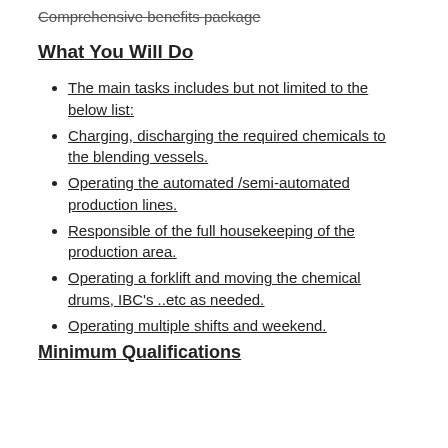Comprehensive benefits package
What You Will Do
The main tasks includes but not limited to the below list:
Charging, discharging the required chemicals to the blending vessels.
Operating the automated /semi-automated production lines.
Responsible of the full housekeeping of the production area.
Operating a forklift and moving the chemical drums, IBC's ..etc as needed.
Operating multiple shifts and weekend.
Minimum Qualifications